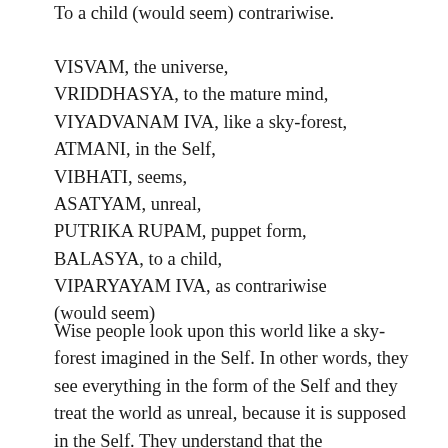To a child (would seem) contrariwise.
VISVAM, the universe,
VRIDDHASYA, to the mature mind,
VIYADVANAM IVA, like a sky-forest,
ATMANI, in the Self,
VIBHATI, seems,
ASATYAM, unreal,
PUTRIKA RUPAM, puppet form,
BALASYA, to a child,
VIPARYAYAM IVA, as contrariwise (would seem)
Wise people look upon this world like a sky-forest imagined in the Self. In other words, they see everything in the form of the Self and they treat the world as unreal, because it is supposed in the Self. They understand that the